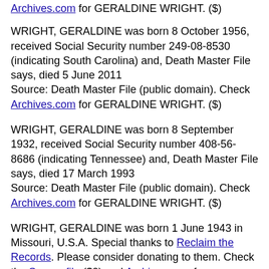Archives.com for GERALDINE WRIGHT. ($)
WRIGHT, GERALDINE was born 8 October 1956, received Social Security number 249-08-8530 (indicating South Carolina) and, Death Master File says, died 5 June 2011
Source: Death Master File (public domain). Check Archives.com for GERALDINE WRIGHT. ($)
WRIGHT, GERALDINE was born 8 September 1932, received Social Security number 408-56-8686 (indicating Tennessee) and, Death Master File says, died 17 March 1993
Source: Death Master File (public domain). Check Archives.com for GERALDINE WRIGHT. ($)
WRIGHT, GERALDINE was born 1 June 1943 in Missouri, U.S.A. Special thanks to Reclaim the Records. Please consider donating to them. Check the Source file ($0) and Archives.com for GERALDINE WRIGHT. ($)